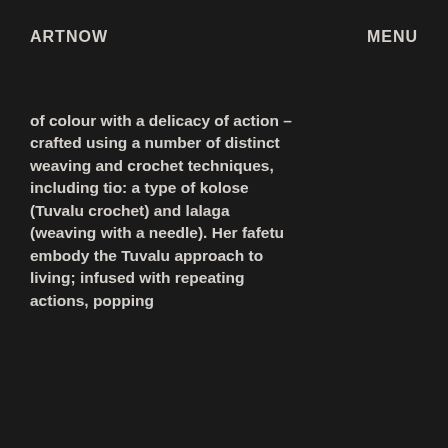ARTNOW    MENU
of colour with a delicacy of action – crafted using a number of distinct weaving and crochet techniques, including tio: a type of kolose (Tuvalu crochet) and lalaga (weaving with a needle). Her fafetu embody the Tuvalu approach to living; infused with repeating actions, popping